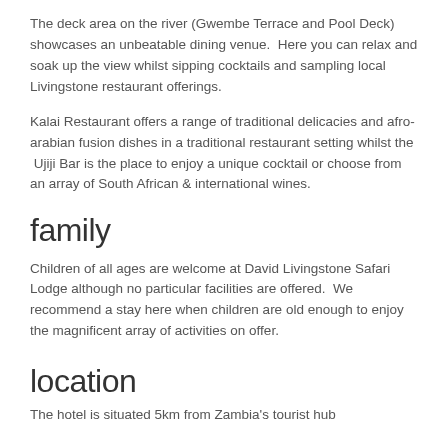The deck area on the river (Gwembe Terrace and Pool Deck) showcases an unbeatable dining venue.  Here you can relax and soak up the view whilst sipping cocktails and sampling local Livingstone restaurant offerings.
Kalai Restaurant offers a range of traditional delicacies and afro-arabian fusion dishes in a traditional restaurant setting whilst the  Ujiji Bar is the place to enjoy a unique cocktail or choose from an array of South African & international wines.
family
Children of all ages are welcome at David Livingstone Safari Lodge although no particular facilities are offered.  We recommend a stay here when children are old enough to enjoy the magnificent array of activities on offer.
location
The hotel is situated 5km from Zambia's tourist hub